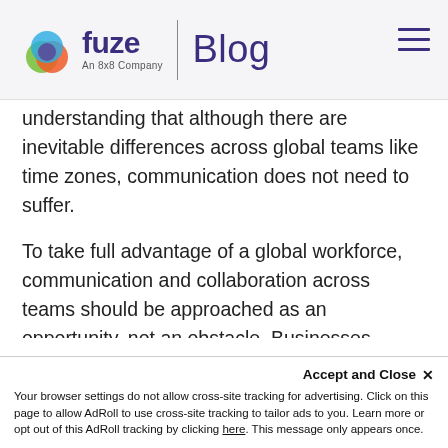fuze | Blog — An 8x8 Company
understanding that although there are inevitable differences across global teams like time zones, communication does not need to suffer.
To take full advantage of a global workforce, communication and collaboration across teams should be approached as an opportunity, not an obstacle. Businesses should prioritize a workforce toolset that incorporates a comprehensive, flexible unified communications platform and work to understand workers preferences in order to capitalize on it. This mindset will build intention into all employee communication and allow for various methods of interactions, increasing flexibility and productivity based
Accept and Close ✕
Your browser settings do not allow cross-site tracking for advertising. Click on this page to allow AdRoll to use cross-site tracking to tailor ads to you. Learn more or opt out of this AdRoll tracking by clicking here. This message only appears once.